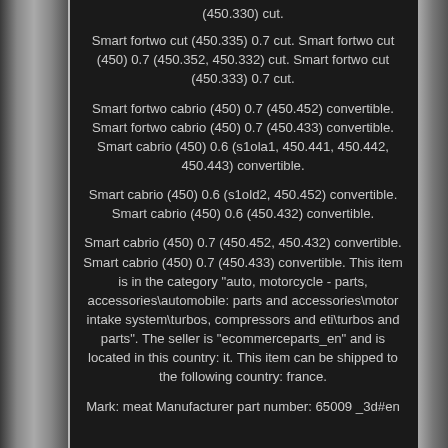(450.330) cut.
Smart fortwo cut (450.335) 0.7 cut. Smart fortwo cut (450) 0.7 (450.352, 450.332) cut. Smart fortwo cut (450.333) 0.7 cut.
Smart fortwo cabrio (450) 0.7 (450.452) convertible. Smart fortwo cabrio (450) 0.7 (450.433) convertible. Smart cabrio (450) 0.6 (s1ola1, 450.441, 450.442, 450.443) convertible.
Smart cabrio (450) 0.6 (s1old2, 450.452) convertible. Smart cabrio (450) 0.6 (450.432) convertible.
Smart cabrio (450) 0.7 (450.452, 450.432) convertible. Smart cabrio (450) 0.7 (450.433) convertible. This item is in the category "auto, motorcycle - parts, accessories\automobile: parts and accessories\motor intake system\turbos, compressors and eti\turbos and parts". The seller is "ecommerceparts_en" and is located in this country: it. This item can be shipped to the following country: france.
Mark: meat Manufacturer part number: 65009 _3d#en